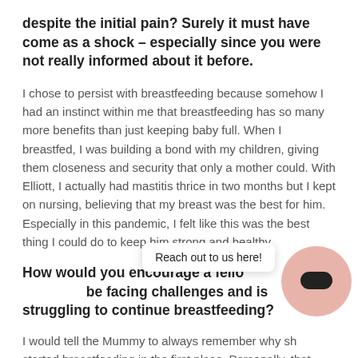despite the initial pain? Surely it must have come as a shock – especially since you were not really informed about it before.
I chose to persist with breastfeeding because somehow I had an instinct within me that breastfeeding has so many more benefits than just keeping baby full. When I breastfed, I was building a bond with my children, giving them closeness and security that only a mother could. With Elliott, I actually had mastitis thrice in two months but I kept on nursing, believing that my breast was the best for him. Especially in this pandemic, I felt like this was the best thing I could do to keep him strong and healthy.
How would you encourage a fellow mummy who may be facing challenges and is struggling to continue breastfeeding?
I would tell the Mummy to always remember why she started breastfeeding in the first place. Personally, that